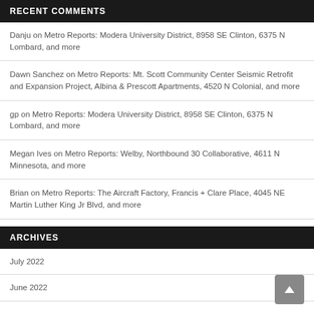RECENT COMMENTS
Danju on Metro Reports: Modera University District, 8958 SE Clinton, 6375 N Lombard, and more
Dawn Sanchez on Metro Reports: Mt. Scott Community Center Seismic Retrofit and Expansion Project, Albina & Prescott Apartments, 4520 N Colonial, and more
gp on Metro Reports: Modera University District, 8958 SE Clinton, 6375 N Lombard, and more
Megan Ives on Metro Reports: Welby, Northbound 30 Collaborative, 4611 N Minnesota, and more
Brian on Metro Reports: The Aircraft Factory, Francis + Clare Place, 4045 NE Martin Luther King Jr Blvd, and more
ARCHIVES
July 2022
June 2022